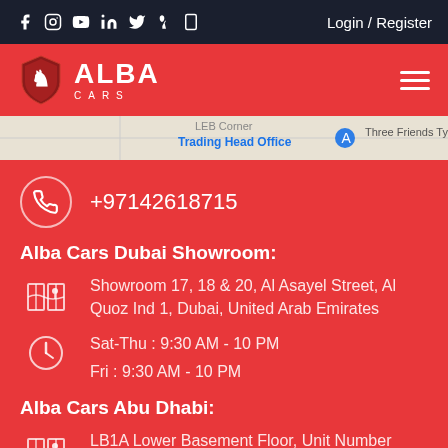Social icons | Login / Register
[Figure (logo): Alba Cars logo with shield icon on red background]
[Figure (screenshot): Map strip showing LEB Corner Trading Head Office]
+97142618715
Alba Cars Dubai Showroom:
Showroom 17, 18 & 20, Al Asayel Street, Al Quoz Ind 1, Dubai, United Arab Emirates
Sat-Thu : 9:30 AM - 10 PM
Fri : 9:30 AM - 10 PM
Alba Cars Abu Dhabi:
LB1A Lower Basement Floor, Unit Number UNT96287, Marina Mall, Abu Dhabi, United